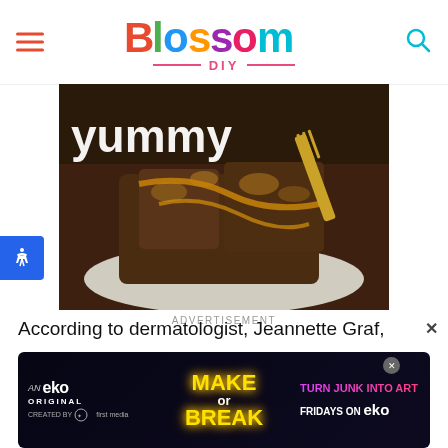Blossom DIY
[Figure (photo): Close-up photo of chocolate pecan brownie pieces on a white plate, with the word 'yummy' visible and a gold fork in the background]
ADVERTISEMENT
According to dermatologist, Jeannette Graf,
[Figure (screenshot): Bottom advertisement banner for 'Make or Break' an eko Original show - Turn Junk Into Art, Fridays on eko]